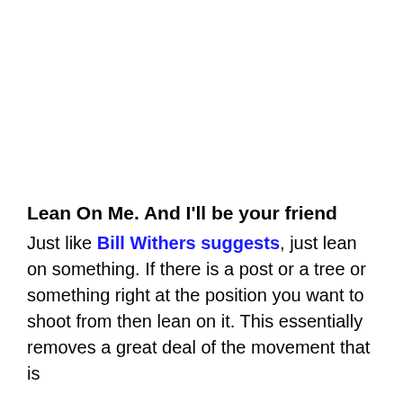Lean On Me. And I'll be your friend
Just like Bill Withers suggests, just lean on something. If there is a post or a tree or something right at the position you want to shoot from then lean on it. This essentially removes a great deal of the movement that is